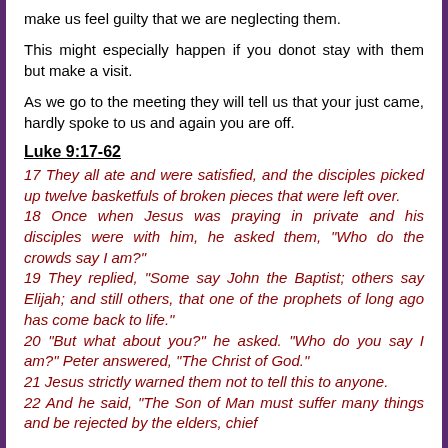make us feel guilty that we are neglecting them.
This might especially happen if you donot stay with them but make a visit.
As we go to the meeting they will tell us that your just came, hardly spoke to us and again you are off.
Luke 9:17-62
17 They all ate and were satisfied, and the disciples picked up twelve basketfuls of broken pieces that were left over. 18 Once when Jesus was praying in private and his disciples were with him, he asked them, "Who do the crowds say I am?" 19 They replied, "Some say John the Baptist; others say Elijah; and still others, that one of the prophets of long ago has come back to life." 20 "But what about you?" he asked. "Who do you say I am?" Peter answered, "The Christ of God." 21 Jesus strictly warned them not to tell this to anyone. 22 And he said, "The Son of Man must suffer many things and be rejected by the elders, chief